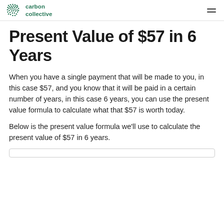carbon collective
Present Value of $57 in 6 Years
When you have a single payment that will be made to you, in this case $57, and you know that it will be paid in a certain number of years, in this case 6 years, you can use the present value formula to calculate what that $57 is worth today.
Below is the present value formula we'll use to calculate the present value of $57 in 6 years.